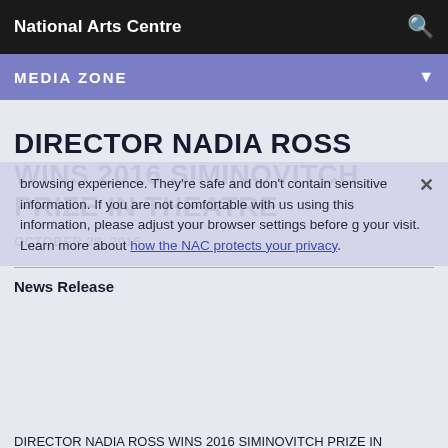National Arts Centre
MEDIA ZONE
DIRECTOR NADIA ROSS WINS 2016 SIMINOVITCH PRIZE IN THEATRE
OCTOBER 28, 2016
News Release
DIRECTOR NADIA ROSS WINS 2016 SIMINOVITCH PRIZE IN THEATRE
Sarah Conn and Shaista Latif Chosen as Protégées